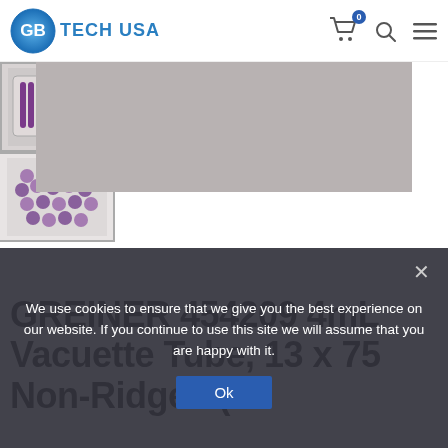GB TECH USA
[Figure (photo): Product photos of Greiner Vacuette tubes — main image showing grey background, two thumbnails below: one showing packaged purple-capped tubes, one showing loose purple caps]
GREINER 454209 4mL Vacuette Tube, 13 x 75 Non-Ridged (50
We use cookies to ensure that we give you the best experience on our website. If you continue to use this site we will assume that you are happy with it. Ok